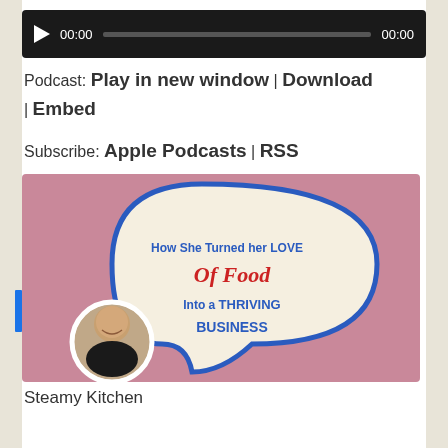[Figure (other): Audio player widget with play button, time display 00:00, progress bar, and end time 00:00 on dark background]
Podcast: Play in new window | Download | Embed
Subscribe: Apple Podcasts | RSS
[Figure (illustration): Podcast episode image with pink background, speech bubble shape containing text 'How She Turned her LOVE Of Food Into a THRIVING BUSINESS' and circular photo of a woman]
Steamy Kitchen